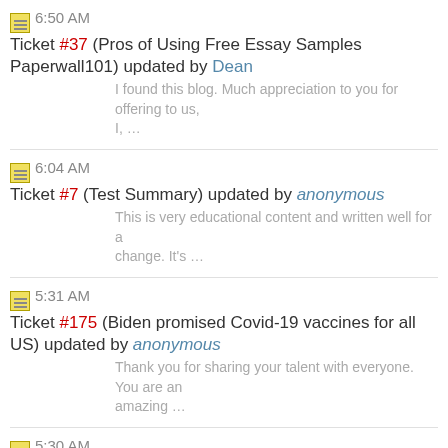6:50 AM Ticket #37 (Pros of Using Free Essay Samples Paperwall101) updated by Dean
I found this blog. Much appreciation to you for offering to us, I, …
6:04 AM Ticket #7 (Test Summary) updated by anonymous
This is very educational content and written well for a change. It's …
5:31 AM Ticket #175 (Biden promised Covid-19 vaccines for all US) updated by anonymous
Thank you for sharing your talent with everyone. You are an amazing …
5:30 AM Ticket #208 (Проверка функциональности подпунктов меню Help. Подпункт «Help Topics».) updated by anonymous
Thank you for sharing your talent with everyone. You are an amazing …
5:30 AM Ticket #174 (Тестирование кнопки «Paste») updated by anonymous
Thank you for sharing your talent with everyone. You are an …